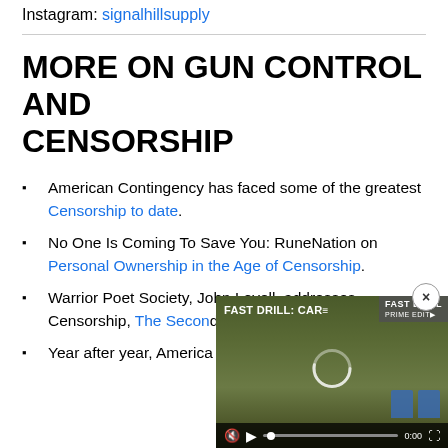Instagram: signalhillsupply
MORE ON GUN CONTROL AND CENSORSHIP
American Contingency has faced some of the greatest Censorship to date.
No One Is Coming To Save You: RuneNation on Personal Ownership in the Age of Censorship.
Warrior Poet Society, John Lovell, addresses Censorship, The Second [Amendment and] Moving Forward.
Year after year, America[n] Second Amendment is[m...]
[Figure (screenshot): Video player overlay showing 'FAST DRILL: CAR...' with play controls, mute icon, timestamp 0:00, and target silhouettes in background. Close (x) button in top-right corner.]